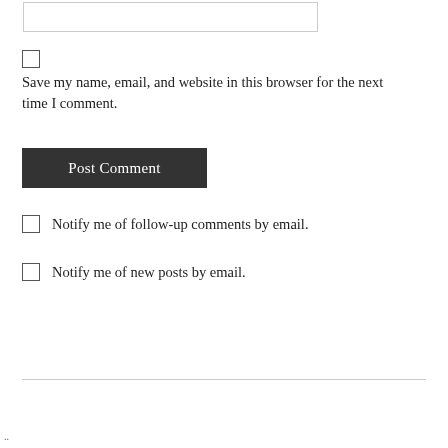[input box]
Save my name, email, and website in this browser for the next time I comment.
Post Comment
Notify me of follow-up comments by email.
Notify me of new posts by email.